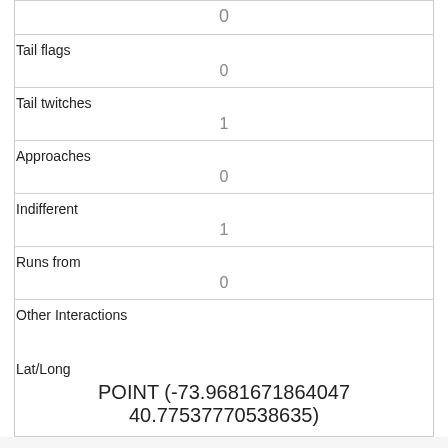|  | 0 |
| Tail flags | 0 |
| Tail twitches | 1 |
| Approaches | 0 |
| Indifferent | 1 |
| Runs from | 0 |
| Other Interactions |  |
| Lat/Long | POINT (-73.9681671864047 40.77537770538635) |
| Link | 2757 |
| rowid | 2757 |
| longitude |  |